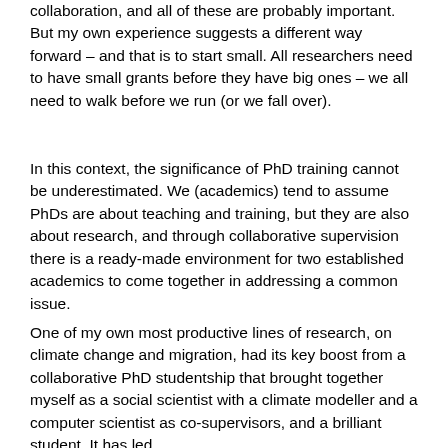collaboration, and all of these are probably important.  But my own experience suggests a different way forward – and that is to start small.   All researchers need to have small grants before they have big ones – we all need to walk before we run (or we fall over).
In this context, the significance of PhD training cannot be underestimated.  We (academics) tend to assume PhDs are about teaching and training, but they are also about research, and through collaborative supervision there is a ready-made environment for two established academics to come together in addressing a common issue.
One of my own most productive lines of research, on climate change and migration, had its key boost from a collaborative PhD studentship that brought together myself as a social scientist with a climate modeller and a computer scientist as co-supervisors, and a brilliant student.  It has led – directly or indirectly – to academic papers, including in